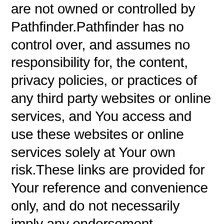are not owned or controlled by Pathfinder.Pathfinder has no control over, and assumes no responsibility for, the content, privacy policies, or practices of any third party websites or online services, and You access and use these websites or online services solely at Your own risk.These links are provided for Your reference and convenience only, and do not necessarily imply any endorsement, sponsorship or recommendation of the material on these third-party websites or online services or any association with their operators.In addition, Pathfinder will not and cannot control or edit the content of any third-party website or online service.BY USING THE SERVICE, YOU EXPRESSLY RELEASE THE PATHFINDER PARTIES, APPLE AND GOOGLE FROM ANY AND ALL LIABILITY ARISING